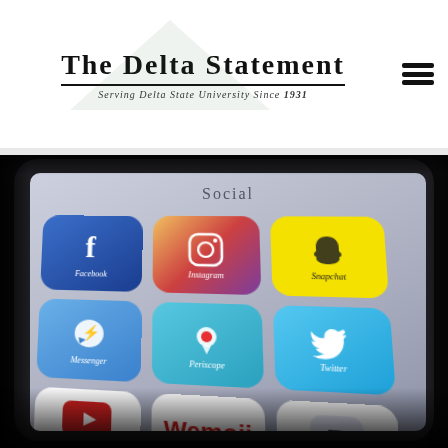The Delta Statement — Serving Delta State University Since 1931
[Figure (photo): Close-up photo of a smartphone screen showing a 'Social' app folder with icons for Facebook, Instagram, Snapchat, Messenger, Periscope, Twitter, YouTube, Yomij, and a Parking app, on a dark background.]